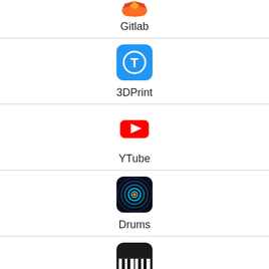[Figure (logo): Gitlab app icon (partial, orange fox shape visible at top)]
Gitlab
[Figure (logo): 3DPrint app icon - blue square with white circle T symbol]
3DPrint
[Figure (logo): YTube app icon - YouTube red play button logo]
YTube
[Figure (logo): Drums app icon - dark abstract tunnel with glowing rings and orange center]
Drums
[Figure (logo): Pianist app icon - dark background with piano keys (black and white)]
Pianist